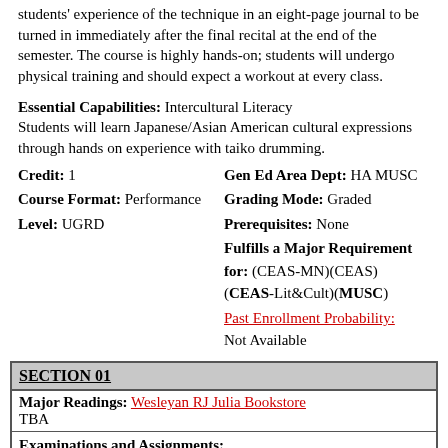students' experience of the technique in an eight-page journal to be turned in immediately after the final recital at the end of the semester. The course is highly hands-on; students will undergo physical training and should expect a workout at every class.
Essential Capabilities: Intercultural Literacy
Students will learn Japanese/Asian American cultural expressions through hands on experience with taiko drumming.
Credit: 1
Course Format: Performance
Level: UGRD
Gen Ed Area Dept: HA MUSC
Grading Mode: Graded
Prerequisites: None
Fulfills a Major Requirement for: (CEAS-MN)(CEAS)(CEAS-Lit&Cult)(MUSC)
Past Enrollment Probability: Not Available
| SECTION 01 |
| --- |
| Major Readings: Wesleyan RJ Julia Bookstore
TBA |
| Examinations and Assignments:
Homework will largely consist of practice assignments. Occasionally, some Japanese vocabulary will be assigned. Participation at the final concert, and an 8-page journal, demonstrating the student's engagement with the taiko drumming... |